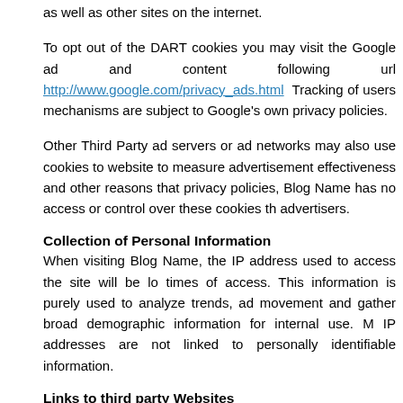as well as other sites on the internet.
To opt out of the DART cookies you may visit the Google ad and content following url http://www.google.com/privacy_ads.html Tracking of users mechanisms are subject to Google’s own privacy policies.
Other Third Party ad servers or ad networks may also use cookies to website to measure advertisement effectiveness and other reasons that privacy policies, Blog Name has no access or control over these cookies th advertisers.
Collection of Personal Information
When visiting Blog Name, the IP address used to access the site will be lo times of access. This information is purely used to analyze trends, ad movement and gather broad demographic information for internal use. M IP addresses are not linked to personally identifiable information.
Links to third party Websites
We have included links on this site for your use and reference. We are n policies on these websites. You should be aware that the privacy policies our own.
Changes to this Privacy Statement
The contents of this statement may be altered at any time, at our discretion